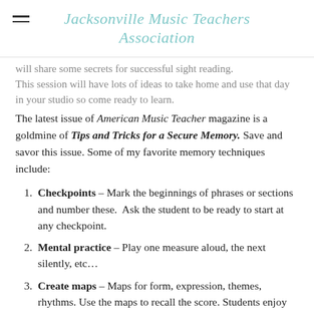Jacksonville Music Teachers Association
will share some secrets for successful sight reading. This session will have lots of ideas to take home and use that day in your studio so come ready to learn.
The latest issue of American Music Teacher magazine is a goldmine of Tips and Tricks for a Secure Memory. Save and savor this issue. Some of my favorite memory techniques include:
Checkpoints – Mark the beginnings of phrases or sections and number these.  Ask the student to be ready to start at any checkpoint.
Mental practice – Play one measure aloud, the next silently, etc…
Create maps – Maps for form, expression, themes, rhythms. Use the maps to recall the score. Students enjoy designing the maps.
Play at half speed. This one challenges the